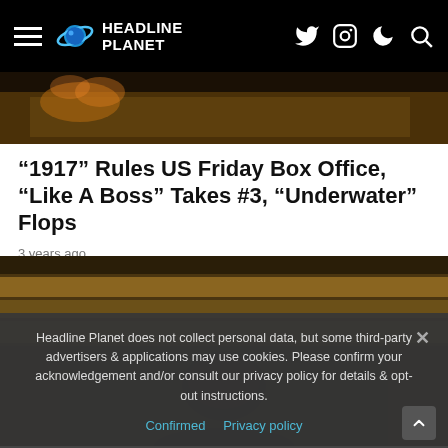HEADLINE PLANET
[Figure (photo): Top partial image of a scene with warm amber/fire tones, appears to be a map or table with fire in background]
“1917” Rules US Friday Box Office, “Like A Boss” Takes #3, “Underwater” Flops
3 years ago
[Figure (photo): Dark atmospheric photo showing the back of a person's head with dark hair, in a dimly lit warm-toned environment, related to the 'Underwater' movie]
Headline Planet does not collect personal data, but some third-party advertisers & applications may use cookies. Please confirm your acknowledgement and/or consult our privacy policy for details & opt-out instructions.
Confirmed   Privacy policy